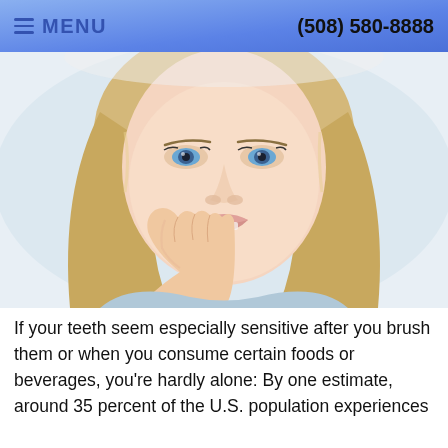MENU   (508) 580-8888
[Figure (photo): A blonde woman wincing and holding her hand against her cheek/jaw, suggesting tooth or jaw pain, against a white background.]
If your teeth seem especially sensitive after you brush them or when you consume certain foods or beverages, you're hardly alone: By one estimate, around 35 percent of the U.S. population experiences